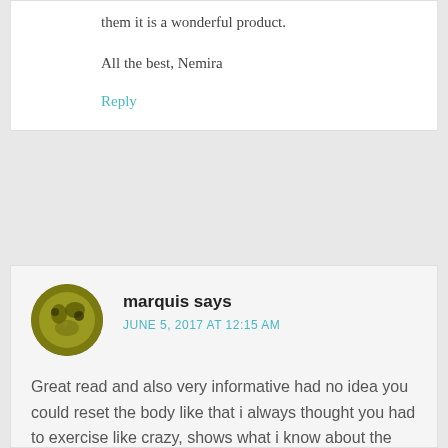them it is a wonderful product.
All the best, Nemira
Reply
marquis says
JUNE 5, 2017 AT 12:15 AM
Great read and also very informative had no idea you could reset the body like that i always thought you had to exercise like crazy, shows what i know about the human body im definitely going to do a crazy